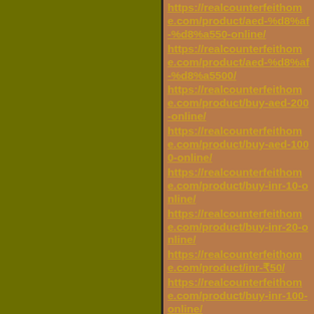https://realcounterfeithome.com/product/aed-%d8%af-%d8%a550-online/
https://realcounterfeithome.com/product/aed-%d8%af-%d8%a5500/
https://realcounterfeithome.com/product/buy-aed-200-online/
https://realcounterfeithome.com/product/buy-aed-1000-online/
https://realcounterfeithome.com/product/buy-inr-10-online/
https://realcounterfeithome.com/product/buy-inr-20-online/
https://realcounterfeithome.com/product/inr-₹50/
https://realcounterfeithome.com/product/buy-inr-100-online/
https://realcounterfeithome.com/product/buy-nzd-5-bills-online/
https://realcounterfeithome.com/product/buy-nzd-10-bills-online/
https://realcounterfeithome.com/product/buy-nzd-20-bills-online/
https://realcounterfeithome.com/product/nzd-50-bills/
https://realcounterfeithome.com/product/buy-nzd-100-bills-online/
https://realcounterfeithome.com/product/buy-